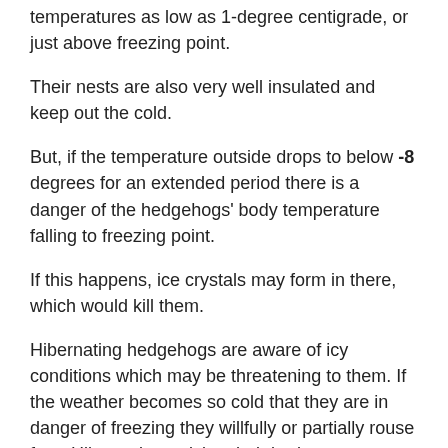temperatures as low as 1-degree centigrade, or just above freezing point.
Their nests are also very well insulated and keep out the cold.
But, if the temperature outside drops to below -8 degrees for an extended period there is a danger of the hedgehogs' body temperature falling to freezing point.
If this happens, ice crystals may form in there, which would kill them.
Hibernating hedgehogs are aware of icy conditions which may be threatening to them. If the weather becomes so cold that they are in danger of freezing they willfully or partially rouse from Hibernation, raising their body temperatures.
Is Hibernation Dangerous for